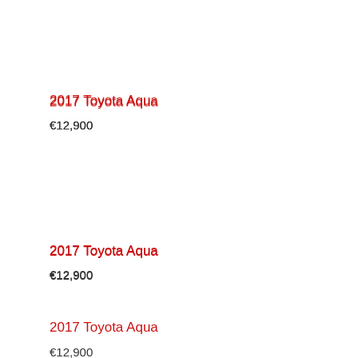2017 Toyota Aqua
€12,900
2017 Toyota Aqua
€12,900
2017 Toyota Aqua
€12,900